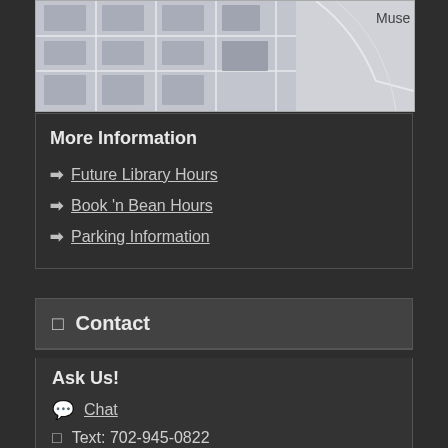[Figure (map): Partial street map showing a grid of buildings and streets, with 'Muse' text visible in the upper right area of the map.]
More Information
Future Library Hours
Book 'n Bean Hours
Parking Information
Contact
Ask Us!
Chat
Text: 702-945-0822
Phone: 702-895-2111